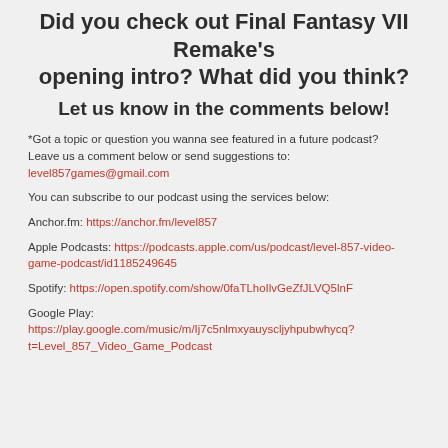Did you check out Final Fantasy VII Remake's opening intro? What did you think?
Let us know in the comments below!
*Got a topic or question you wanna see featured in a future podcast? Leave us a comment below or send suggestions to: level857games@gmail.com
You can subscribe to our podcast using the services below:
Anchor.fm: https://anchor.fm/level857
Apple Podcasts: https://podcasts.apple.com/us/podcast/level-857-video-game-podcast/id1185249645
Spotify: https://open.spotify.com/show/0faTLhoIlvGeZfJLVQ5lnF
Google Play: https://play.google.com/music/m/Ij7c5nlmxyauyscljyhpubwhycq?t=Level_857_Video_Game_Podcast